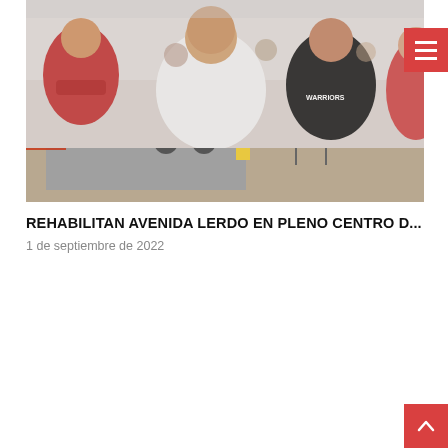[Figure (photo): Construction workers paving a street with concrete; a cement mixer truck visible in the background on Avenida Lerdo, city center.]
REHABILITAN AVENIDA LERDO EN PLENO CENTRO D...
1 de septiembre de 2022
[Figure (photo): Group of people seated indoors, appearing to attend a meeting or event; a person in a red hoodie, a man in a white shirt, and a woman in a black shirt are visible.]